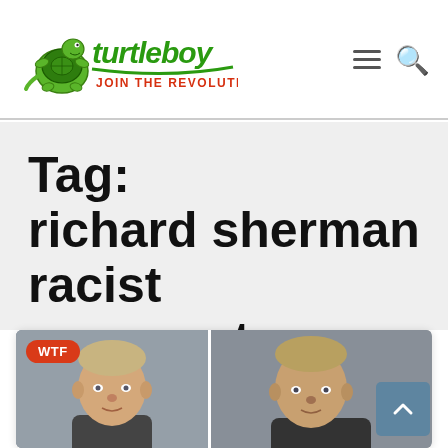[Figure (logo): Turtleboy logo with cartoon turtle and text 'turtleboy JOIN THE REVOLUTION']
Tag:
richard sherman racist comments
[Figure (photo): Two mugshot-style photos of young men side by side, with a red WTF badge on the left photo]